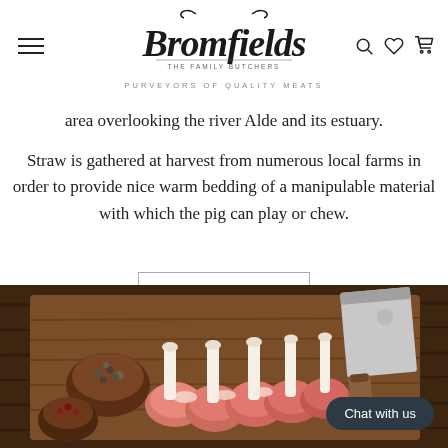Bromfields The Family Butchers - Purveyors of Quality Meats
area overlooking the river Alde and its estuary.
Straw is gathered at harvest from numerous local farms in order to provide nice warm bedding of a manipulable material with which the pig can play or chew.
SHOP PORK
[Figure (photo): Lamb chops on a wooden cutting board with a meat cleaver, small bowl of pepper, and spices. Chat with us button overlay.]